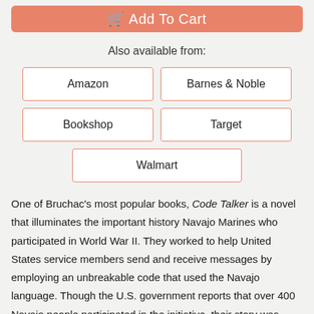[Figure (other): Add to Cart button, salmon/coral colored rounded rectangle]
Also available from:
Amazon
Barnes & Noble
Bookshop
Target
Walmart
One of Bruchac's most popular books, Code Talker is a novel that illuminates the important history Navajo Marines who participated in World War II. They worked to help United States service members send and receive messages by employing an unbreakable code that used the Navajo language. Though the U.S. government reports that over 400 Navajo people participated in the initiative, their story was classified for decades. (Interested in seeing the Navajo Code